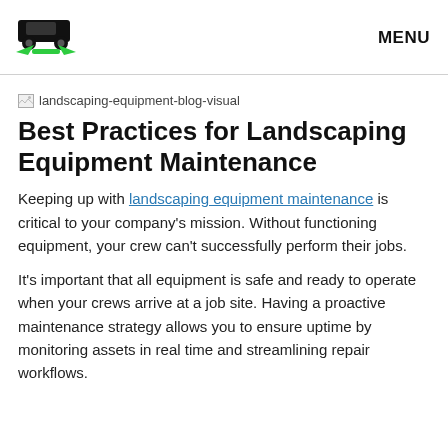MENU
[Figure (logo): Landscaping/fleet management company logo: black vehicle silhouette with green arrows beneath on white background]
[Figure (photo): Broken image placeholder labeled 'landscaping-equipment-blog-visual']
Best Practices for Landscaping Equipment Maintenance
Keeping up with landscaping equipment maintenance is critical to your company's mission. Without functioning equipment, your crew can't successfully perform their jobs.
It's important that all equipment is safe and ready to operate when your crews arrive at a job site. Having a proactive maintenance strategy allows you to ensure uptime by monitoring assets in real time and streamlining repair workflows.